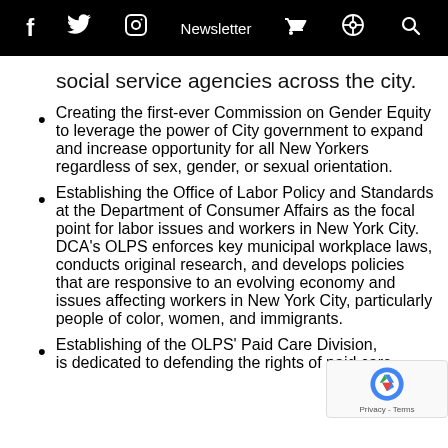f  [twitter]  [instagram]  Newsletter  [cart]  [podcast]  [search]
social service agencies across the city.
Creating the first-ever Commission on Gender Equity to leverage the power of City government to expand and increase opportunity for all New Yorkers regardless of sex, gender, or sexual orientation.
Establishing the Office of Labor Policy and Standards at the Department of Consumer Affairs as the focal point for labor issues and workers in New York City. DCA’s OLPS enforces key municipal workplace laws, conducts original research, and develops policies that are responsive to an evolving economy and issues affecting workers in New York City, particularly people of color, women, and immigrants.
Establishing of the OLPS’ Paid Care Division, is dedicated to defending the rights of paid care